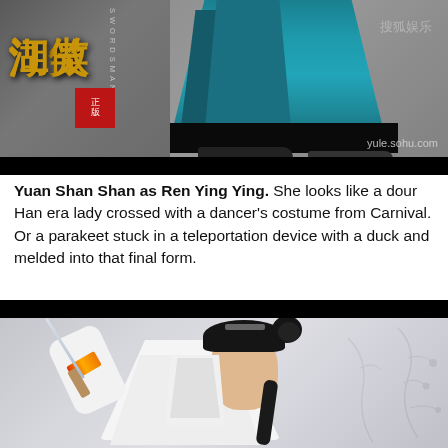[Figure (photo): Promotional image for Chinese TV drama 'Swordsman' (笑傲江湖) showing a figure in a teal/blue flowing outfit with black shoes, alongside Chinese characters logo and Sohu entertainment watermark (yule.sohu.com)]
Yuan Shan Shan as Ren Ying Ying. She looks like a dour Han era lady crossed with a dancer's costume from Carnival. Or a parakeet stuck in a teleportation device with a duck and melded into that final form.
[Figure (photo): Photo of actress Yuan Shan Shan in white costume holding a sword raised above her head, with dark hair in a bun style, against a light grey background with floral patterns.]